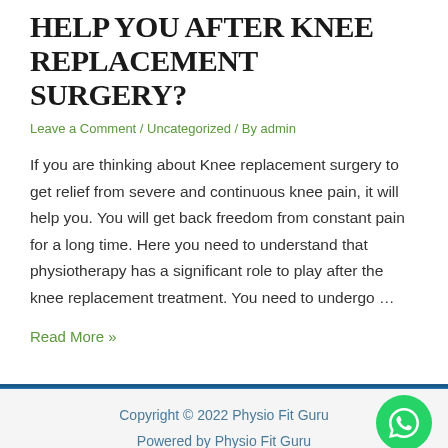HELP YOU AFTER KNEE REPLACEMENT SURGERY?
Leave a Comment / Uncategorized / By admin
If you are thinking about Knee replacement surgery to get relief from severe and continuous knee pain, it will help you. You will get back freedom from constant pain for a long time. Here you need to understand that physiotherapy has a significant role to play after the knee replacement treatment. You need to undergo …
Read More »
Copyright © 2022 Physio Fit Guru
Powered by Physio Fit Guru